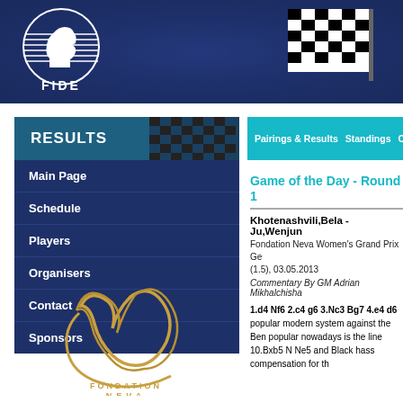[Figure (logo): FIDE logo with knight chess piece emblem and FIDE text, on dark blue banner with checkered racing flag on right]
RESULTS
Main Page
Schedule
Players
Organisers
Contact
Sponsors
Pairings & Results    Standings    Cro
Game of the Day - Round 1
Khotenashvili,Bela - Ju,Wenjun
Fondation Neva Women's Grand Prix Ge (1.5), 03.05.2013
Commentary By GM Adrian Mikhalchisha
1.d4 Nf6 2.c4 g6 3.Nc3 Bg7 4.e4 d6 popular modern system against the Ben popular nowadays is the line 10.Bxb5 N Ne5 and Black hass compensation for th
[Figure (logo): Fondation Neva logo with gold cursive m-like symbol and text FONDATION NEVA]